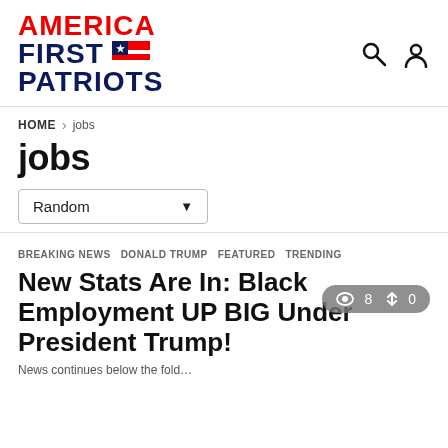AMERICA FIRST PATRIOTS
HOME > jobs
jobs
Random
👁 8  ↕ 0
BREAKING NEWS  DONALD TRUMP  FEATURED  TRENDING
New Stats Are In: Black Employment UP BIG Under President Trump!
News article excerpt text continues below...